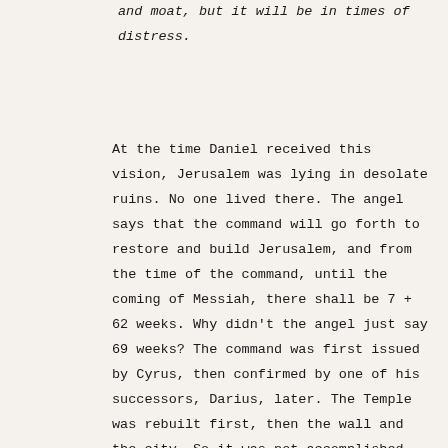and moat, but it will be in times of distress.
At the time Daniel received this vision, Jerusalem was lying in desolate ruins. No one lived there. The angel says that the command will go forth to restore and build Jerusalem, and from the time of the command, until the coming of Messiah, there shall be 7 + 62 weeks. Why didn't the angel just say 69 weeks? The command was first issued by Cyrus, then confirmed by one of his successors, Darius, later. The Temple was rebuilt first, then the wall and the city. So it was not accomplished all at once. Now doing some math, we understand that a week is seven days, so 69 weeks is the